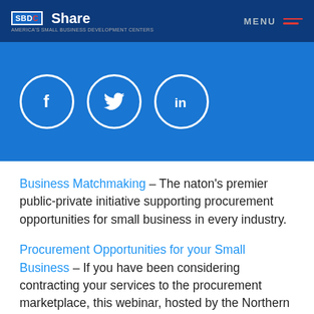Share | MENU
[Figure (logo): SBDC logo and Share text with social media icons (Facebook, Twitter, LinkedIn) on blue banner background]
Business Matchmaking – The naton's premier public-private initiative supporting procurement opportunities for small business in every industry.
Procurement Opportunities for your Small Business – If you have been considering contracting your services to the procurement marketplace, this webinar, hosted by the Northern California SBDC, tells you all you need to know about resources and leads for